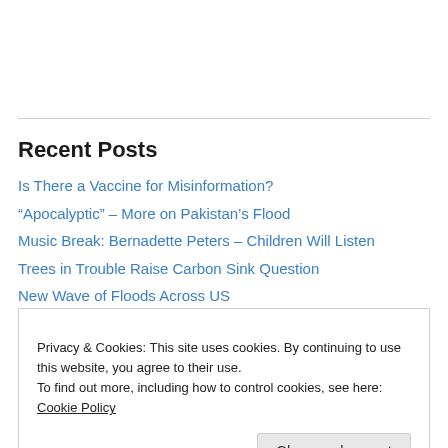Recent Posts
Is There a Vaccine for Misinformation?
“Apocalyptic” – More on Pakistan’s Flood
Music Break: Bernadette Peters – Children Will Listen
Trees in Trouble Raise Carbon Sink Question
New Wave of Floods Across US
Privacy & Cookies: This site uses cookies. By continuing to use this website, you agree to their use.
To find out more, including how to control cookies, see here: Cookie Policy
Music Break: Cleo Laine – No One is Alone